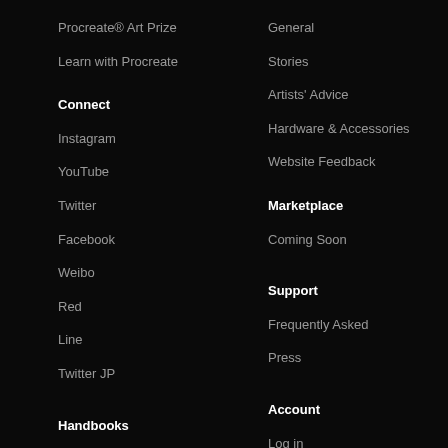Procreate® Art Prize
General
Learn with Procreate
Stories
Artists' Advice
Connect
Hardware & Accessories
Instagram
Website Feedback
YouTube
Marketplace
Twitter
Coming Soon
Facebook
Support
Weibo
Frequently Asked
Red
Press
Line
Twitter JP
Handbooks
Account
Procreate Handbook
Log in
Procreate Pocket Handbook
Create an Account
Showcase